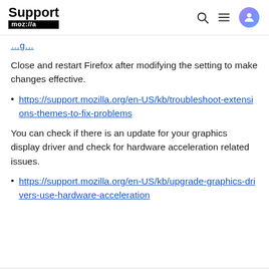Support mozilla// [search] [menu] [avatar]
…g…
Close and restart Firefox after modifying the setting to make changes effective.
https://support.mozilla.org/en-US/kb/troubleshoot-extensions-themes-to-fix-problems
You can check if there is an update for your graphics display driver and check for hardware acceleration related issues.
https://support.mozilla.org/en-US/kb/upgrade-graphics-drivers-use-hardware-acceleration